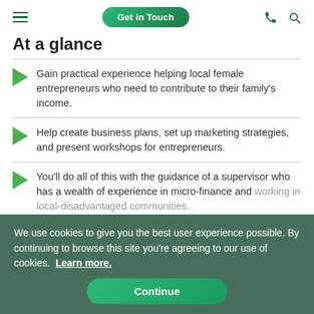Get in Touch
At a glance
Gain practical experience helping local female entrepreneurs who need to contribute to their family's income.
Help create business plans, set up marketing strategies, and present workshops for entrepreneurs.
You'll do all of this with the guidance of a supervisor who has a wealth of experience in micro-finance and working in local-disadvantaged communities.
We use cookies to give you the best user experience possible. By continuing to browse this site you're agreeing to our use of cookies. Learn more.